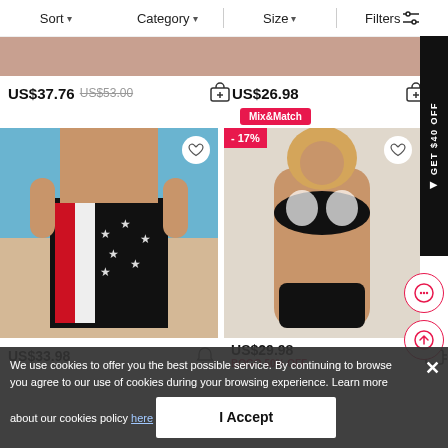Sort   Category   Size   Filters
US$37.76  US$53.00
US$26.98  Mix&Match
[Figure (photo): Man wearing American flag themed board shorts standing on a beach]
[Figure (photo): Woman wearing black and white patterned bikini set, -17% badge]
US$33.98
US$29.98  BOGO 50% OFF
We use cookies to offer you the best possible service. By continuing to browse you agree to our use of cookies during your browsing experience. Learn more about our cookies policy here
I Accept